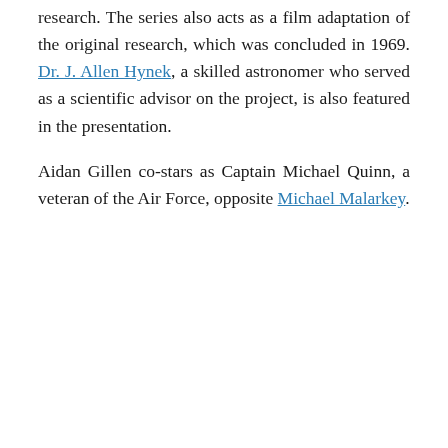research. The series also acts as a film adaptation of the original research, which was concluded in 1969. Dr. J. Allen Hynek, a skilled astronomer who served as a scientific advisor on the project, is also featured in the presentation.
Aidan Gillen co-stars as Captain Michael Quinn, a veteran of the Air Force, opposite Michael Malarkey.